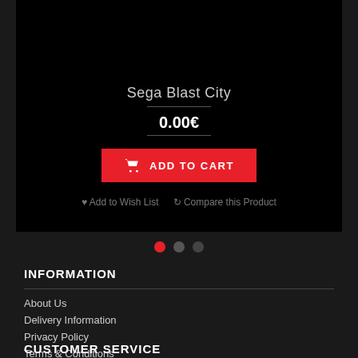[Figure (screenshot): Product card with black background showing Sega Blast City product listing with price 0.00€ and Add to Cart button]
Sega Blast City
0.00€
ADD TO CART
Add to Wish List   Compare this Product
INFORMATION
About Us
Delivery Information
Privacy Policy
Terms & Conditions
CUSTOMER SERVICE